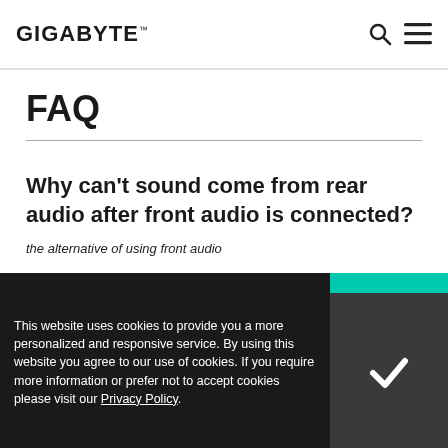GIGABYTE
FAQ
Why can't sound come from rear audio after front audio is connected?
the alternative of using front audio
This website uses cookies to provide you a more personalized and responsive service. By using this website you agree to our use of cookies. If you require more information or prefer not to accept cookies please visit our Privacy Policy.